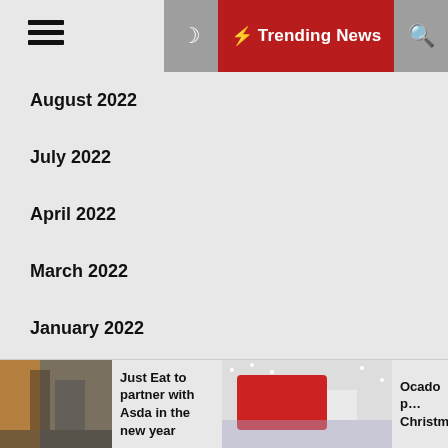☰  ☽  ⚡ Trending News  🔍
August 2022
July 2022
April 2022
March 2022
January 2022
December 2021
November 2021
Just Eat to partner with Asda in the new year
Ocado p… Christm…